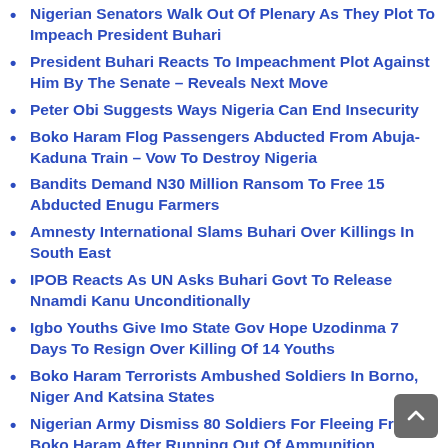Nigerian Senators Walk Out Of Plenary As They Plot To Impeach President Buhari
President Buhari Reacts To Impeachment Plot Against Him By The Senate – Reveals Next Move
Peter Obi Suggests Ways Nigeria Can End Insecurity
Boko Haram Flog Passengers Abducted From Abuja-Kaduna Train – Vow To Destroy Nigeria
Bandits Demand N30 Million Ransom To Free 15 Abducted Enugu Farmers
Amnesty International Slams Buhari Over Killings In South East
IPOB Reacts As UN Asks Buhari Govt To Release Nnamdi Kanu Unconditionally
Igbo Youths Give Imo State Gov Hope Uzodinma 7 Days To Resign Over Killing Of 14 Youths
Boko Haram Terrorists Ambushed Soldiers In Borno, Niger And Katsina States
Nigerian Army Dismiss 80 Soldiers For Fleeing From Boko Haram After Running Out Of Ammunition
Peter Obi Tables Fresh Request Before Court Over PDP Suit To Disqualify Him
Omokri Says IPOB Want To Kill Him Because Of Peter Obi
British Woman Reveals Why Nigerians Should Vote For Peter